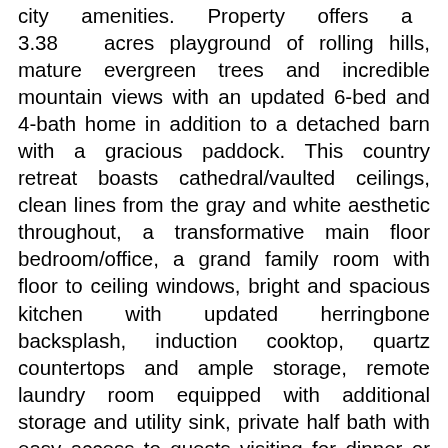city amenities. Property offers a 3.38 acres playground of rolling hills, mature evergreen trees and incredible mountain views with an updated 6-bed and 4-bath home in addition to a detached barn with a gracious paddock. This country retreat boasts cathedral/vaulted ceilings, clean lines from the gray and white aesthetic throughout, a transformative main floor bedroom/office, a grand family room with floor to ceiling windows, bright and spacious kitchen with updated herringbone backsplash, induction cooktop, quartz countertops and ample storage, remote laundry room equipped with additional storage and utility sink, private half bath with easy access to guests visiting for dinner or those coming from the spacious 3-car garage. The upper level offers a sprawling master suite showcasing natural light and meadow views, a spa inspired luxury 5pc. ensuite and a large walk-in closet, two well-appointed bedrooms both offering space and natural light, and a shared bathroom with double vanities and tub to ceiling and tiled floors for easy maintenance. For those wanting a private space for guests, college aged kids, or additional living space